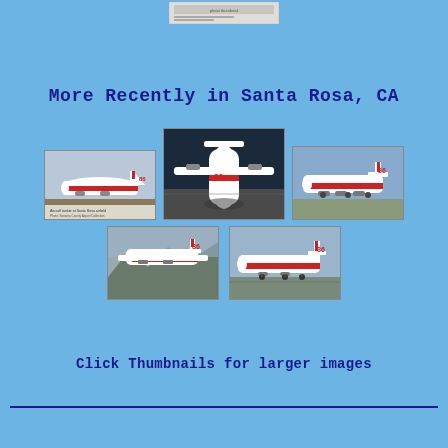[Figure (photo): Small thumbnail image at the top center of the page, appears to be a document or photo card]
More Recently in Santa Rosa, CA
[Figure (photo): Thumbnail photo of a red and white aircraft (tanker) on the ground, left side view, with caption text below]
[Figure (photo): Thumbnail photo of a red and white flying boat / seaplane aircraft, taken from above showing the top and tail]
[Figure (photo): Thumbnail photo of a red and white C-130 type aircraft on the ground, right side view]
[Figure (photo): Thumbnail photo of a red and white turboprop aircraft in flight over terrain]
[Figure (photo): Thumbnail photo of a red and white turboprop aircraft on the tarmac, left side view]
Click Thumbnails for larger images